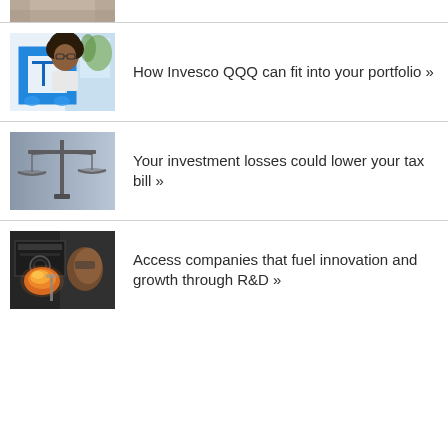[Figure (photo): Partial image visible at top of page - cropped photo of a person, only bottom portion visible]
How Invesco QQQ can fit into your portfolio »
[Figure (photo): Child looking at a blue 3D printer]
Your investment losses could lower your tax bill »
[Figure (photo): Legal scales of justice against a blue-grey background]
Access companies that fuel innovation and growth through R&D »
[Figure (photo): Person working with manufacturing or 3D printing equipment, close-up]